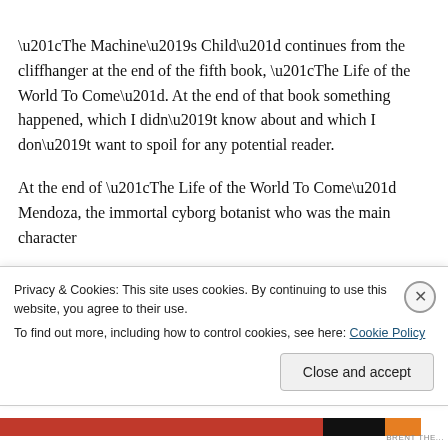“The Machine’s Child” continues from the cliffhanger at the end of the fifth book, “The Life of the World To Come”. At the end of that book something happened, which I didn’t know about and which I don’t want to spoil for any potential reader.
At the end of “The Life of the World To Come” Mendoza, the immortal cyborg botanist who was the main character in the first and the third book, came out into a brilliant red...
Privacy & Cookies: This site uses cookies. By continuing to use this website, you agree to their use.
To find out more, including how to control cookies, see here: Cookie Policy